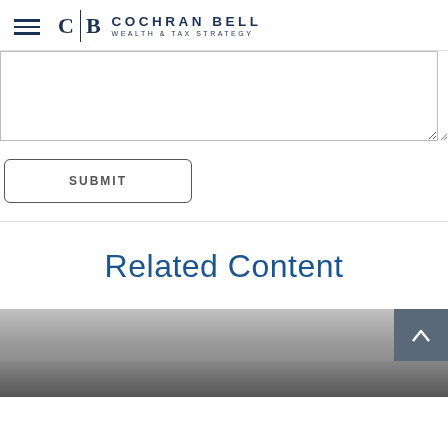C|B COCHRAN BELL WEALTH & TAX STRATEGY
[Figure (screenshot): Empty text area input field for a web form]
SUBMIT
Related Content
[Figure (photo): Bottom partial image, appears to be a smartphone or device, dark background]